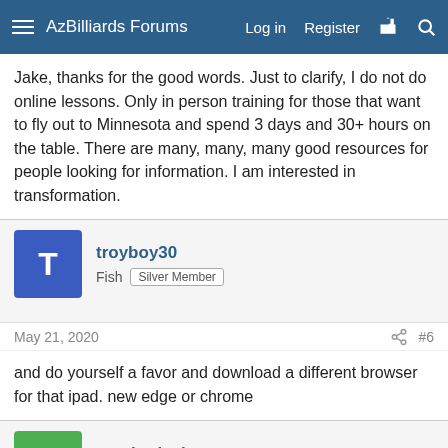AzBilliards Forums  Log in  Register
Jake, thanks for the good words. Just to clarify, I do not do online lessons. Only in person training for those that want to fly out to Minnesota and spend 3 days and 30+ hours on the table. There are many, many, many good resources for people looking for information. I am interested in transformation.
troyboy30
Fish  Silver Member
May 21, 2020  #6
and do yourself a favor and download a different browser for that ipad. new edge or chrome
raycharlesbrown
AzB Silver Member  Silver Member